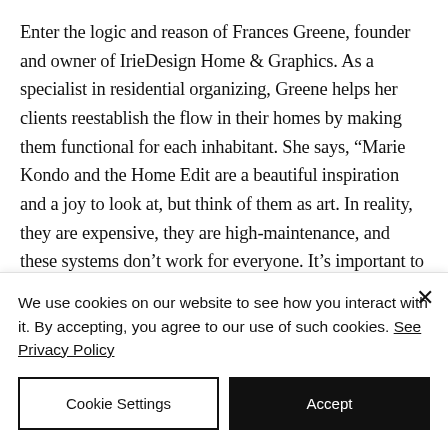Enter the logic and reason of Frances Greene, founder and owner of IrieDesign Home & Graphics. As a specialist in residential organizing, Greene helps her clients reestablish the flow in their homes by making them functional for each inhabitant. She says, “Marie Kondo and the Home Edit are a beautiful inspiration and a joy to look at, but think of them as art. In reality, they are expensive, they are high-maintenance, and these systems don’t work for everyone. It’s important to
We use cookies on our website to see how you interact with it. By accepting, you agree to our use of such cookies. See Privacy Policy
Cookie Settings
Accept